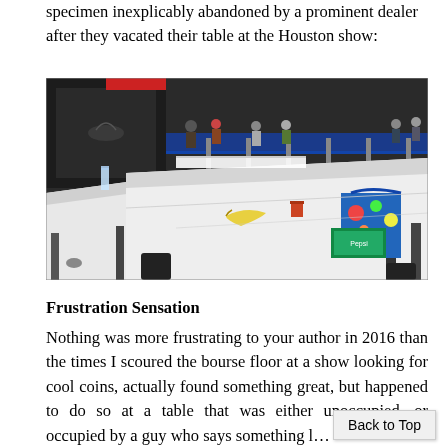specimen inexplicably abandoned by a prominent dealer after they vacated their table at the Houston show:
[Figure (photo): Indoor coin show bourse floor. Foreground shows empty white-draped tables with a banana, water bottle, and colorful shopping bag. Background shows a busy hall with dealers and attendees at various tables, blue skirted tables, and large display structures.]
Frustration Sensation
Nothing was more frustrating to your author in 2016 than the times I scoured the bourse floor at a show looking for cool coins, actually found something great, but happened to do so at a table that was either unoccupied, or occupied by a guy who says something l... aren't mine – these are Bob Friedleburg's coins – he'll be
Back to Top